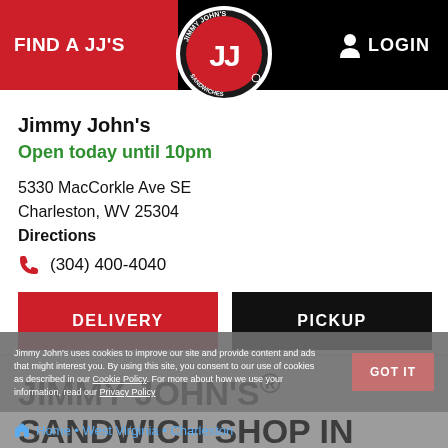FIND A JJ'S    LOGIN
[Figure (logo): Jimmy John's circular logo with JJ letters and sandwiches text]
Jimmy John's
Open today until 10pm
5330 MacCorkle Ave SE
Charleston, WV 25304
Directions
(304) 400-4040
DELIVERY
PICKUP
JIMMY JOHN'S® SANDWICH SHOP IN CHARLESTON
Jimmy John's uses cookies to improve our site and provide content and ads that might interest you. By using this site, you consent to our use of cookies as described in our Cookie Policy. For more about how we use your information, read our Privacy Policy
GOT IT
Home • West Virginia • Charleston